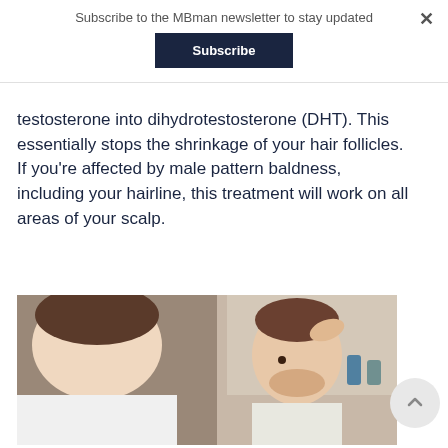Subscribe to the MBman newsletter to stay updated
Subscribe
testosterone into dihydrotestosterone (DHT). This essentially stops the shrinkage of your hair follicles. If you're affected by male pattern baldness, including your hairline, this treatment will work on all areas of your scalp.
[Figure (photo): A man examining his hairline in a bathroom mirror, looking concerned while touching his hair.]